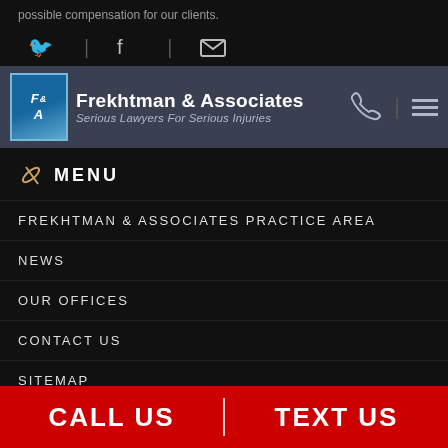possible compensation for our clients.
[Figure (screenshot): Social media icons: Twitter, Facebook, and email/envelope icon with dividers]
Frekhtman & Associates — Serious Lawyers For Serious Injuries
MENU
FREKHTMAN & ASSOCIATES PRACTICE AREA
NEWS
OUR OFFICES
CONTACT US
SITEMAP
CALL US   TEXT US